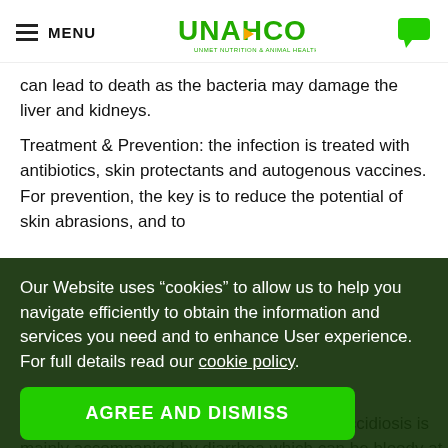MENU | UNAHCO (Unmet Nutrition & Animal Healthcare Company)
can lead to death as the bacteria may damage the liver and kidneys.
Treatment & Prevention: the infection is treated with antibiotics, skin protectants and autogenous vaccines. For prevention, the key is to reduce the potential of skin abrasions, and to...
Our Website uses “cookies” to allow us to help you navigate efficiently to obtain the information and services you need and to enhance User experience. For full details read our cookie policy.
AGREE AND DISMISS
Coccidiosis
...idia intracellular parasite. Coccidiosis is mainly accompanied by diarrhea which can be bloody at times. This